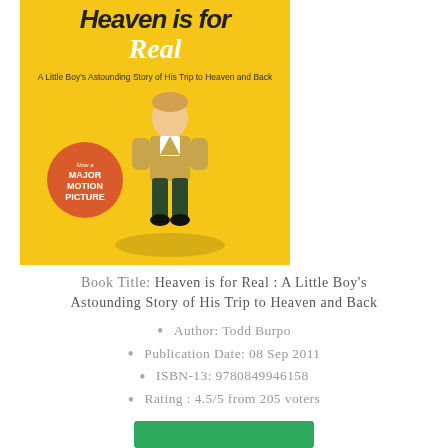[Figure (illustration): Book cover of 'Heaven is for Real' featuring a yellow background, a young boy standing in the center, text 'A Little Boy's Astounding Story of His Trip to Heaven and Back', and a red circle badge reading 'Now a MAJOR MOTION PICTURE']
Book Title: Heaven is for Real : A Little Boy's Astounding Story of His Trip to Heaven and Back
Author: Todd Burpo
Publication Date: 08 Sep 2011
ISBN-13: 9780849946158
Rating : 4.5/5 from 205 voters